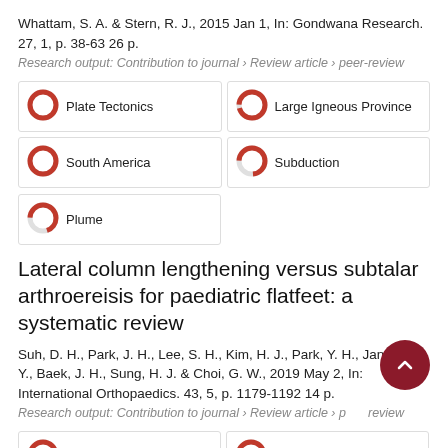Whattam, S. A. & Stern, R. J., 2015 Jan 1, In: Gondwana Research. 27, 1, p. 38-63 26 p.
Research output: Contribution to journal › Review article › peer-review
[Figure (infographic): Five keyword badge boxes with donut/ring percentage icons: Plate Tectonics (100%), Large Igneous Province (~96%), South America (100%), Subduction (~74%), Plume (~70%)]
Lateral column lengthening versus subtalar arthroereisis for paediatric flatfeet: a systematic review
Suh, D. H., Park, J. H., Lee, S. H., Kim, H. J., Park, Y. H., Jang, W. Y., Baek, J. H., Sung, H. J. & Choi, G. W., 2019 May 2, In: International Orthopaedics. 43, 5, p. 1179-1192 14 p.
Research output: Contribution to journal › Review article › peer-review
[Figure (infographic): Two keyword badge boxes with donut/ring percentage icons: Flatfoot (100%), Ankle (~65%)]